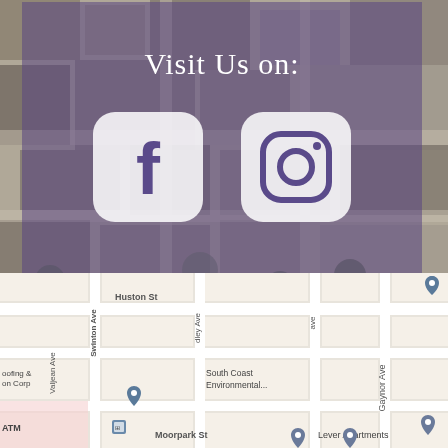[Figure (photo): Aerial view of urban neighborhood with purple overlay box containing 'Visit Us on:' text and Facebook and Instagram icons]
[Figure (map): Google Maps screenshot showing streets including Huston St, Valjean Ave, Swinton Ave, Adley Ave, Gaynor Ave, Moorpark St, with location pins for South Coast Environmental, Lever Apartments, and other businesses]